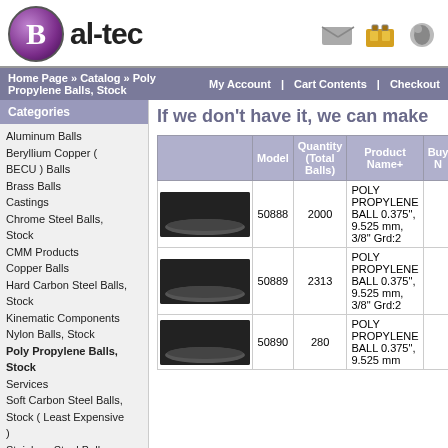[Figure (logo): Bal-tec company logo with purple sphere and bold text]
Home Page » Catalog » Poly Propylene Balls, Stock   My Account | Cart Contents | Checkout
If we don't have it, we can make
|  | Model | Quantity (Total Balls) | Product Name+ | Buy N |
| --- | --- | --- | --- | --- |
| [image] | 50888 | 2000 | POLY PROPYLENE BALL 0.375", 9.525 mm, 3/8" Grd:2 |  |
| [image] | 50889 | 2313 | POLY PROPYLENE BALL 0.375", 9.525 mm, 3/8" Grd:2 |  |
| [image] | 50890 | 280 | POLY PROPYLENE BALL 0.375", 9.525 mm, |  |
Aluminum Balls
Beryllium Copper ( BECU ) Balls
Brass Balls
Castings
Chrome Steel Balls, Stock
CMM Products
Copper Balls
Hard Carbon Steel Balls, Stock
Kinematic Components
Nylon Balls, Stock
Poly Propylene Balls, Stock
Services
Soft Carbon Steel Balls, Stock ( Least Expensive )
Stainless Steel Balls, Stock
Tantalum Balls, Stock
Teflon Balls, Stock
Tools
Tungsten Carbide Balls, Stock
Quick Find